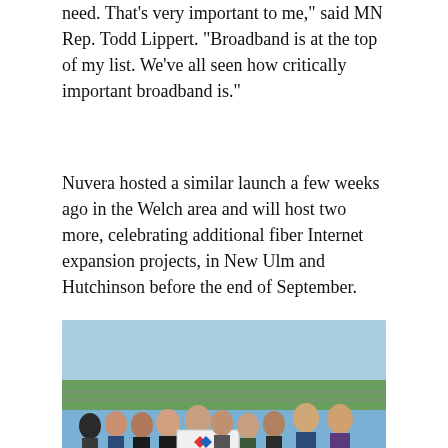need. That’s very important to me,” said MN Rep. Todd Lippert. “Broadband is at the top of my list. We’ve all seen how critically important broadband is.”
Nuvera hosted a similar launch a few weeks ago in the Welch area and will host two more, celebrating additional fiber Internet expansion projects, in New Ulm and Hutchinson before the end of September.
[Figure (photo): Group of approximately ten people standing outdoors on a grass field, posing together. One person in the center is holding a sign that reads 'Fiber Grant Project Launch' with the Nuvera logo. A chain-link fence and trees are visible in the background.]